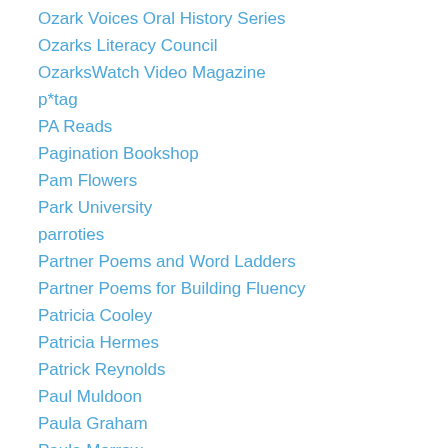Ozark Voices Oral History Series
Ozarks Literacy Council
OzarksWatch Video Magazine
p*tag
PA Reads
Pagination Bookshop
Pam Flowers
Park University
parroties
Partner Poems and Word Ladders
Partner Poems for Building Fluency
Patricia Cooley
Patricia Hermes
Patrick Reynolds
Paul Muldoon
Paula Graham
Paula Morrow
Pennsylvania Reads
Penny Parker Klostermann
Performance poets